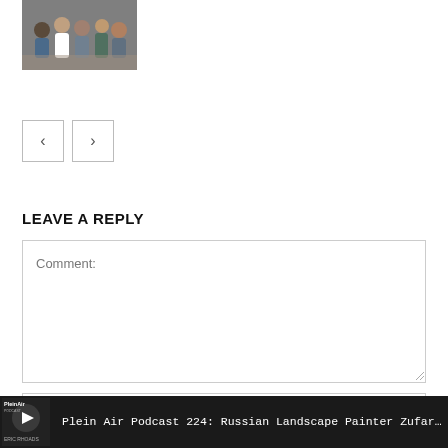[Figure (photo): Group photo of several people indoors]
< >
LEAVE A REPLY
Comment:
Name:*
Plein Air Podcast 224: Russian Landscape Painter Zufar Bikbo